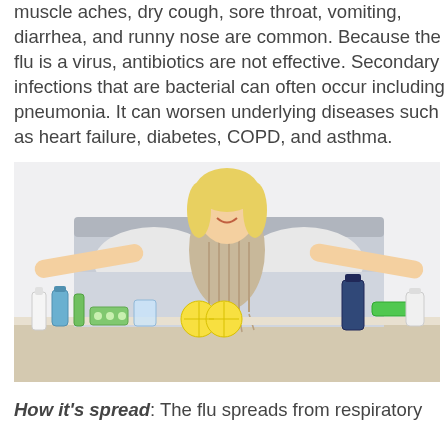muscle aches, dry cough, sore throat, vomiting, diarrhea, and runny nose are common. Because the flu is a virus, antibiotics are not effective. Secondary infections that are bacterial can often occur including pneumonia. It can worsen underlying diseases such as heart failure, diabetes, COPD, and asthma.
[Figure (photo): A smiling blonde woman wearing a knit scarf sitting on a bed with arms spread wide, surrounded by medicine bottles, pills, green tea, lemons, and other cold/flu remedies on a table in front of her.]
How it's spread: The flu spreads from respiratory